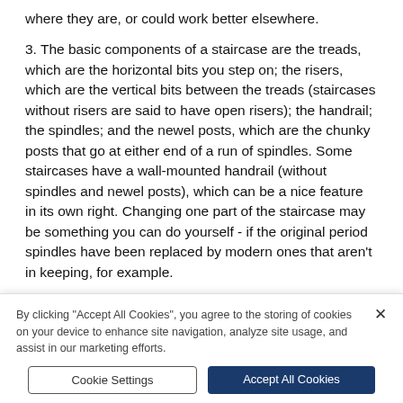where they are, or could work better elsewhere.
3. The basic components of a staircase are the treads, which are the horizontal bits you step on; the risers, which are the vertical bits between the treads (staircases without risers are said to have open risers); the handrail; the spindles; and the newel posts, which are the chunky posts that go at either end of a run of spindles. Some staircases have a wall-mounted handrail (without spindles and newel posts), which can be a nice feature in its own right. Changing one part of the staircase may be something you can do yourself - if the original period spindles have been replaced by modern ones that aren't in keeping, for example.
By clicking “Accept All Cookies”, you agree to the storing of cookies on your device to enhance site navigation, analyze site usage, and assist in our marketing efforts.